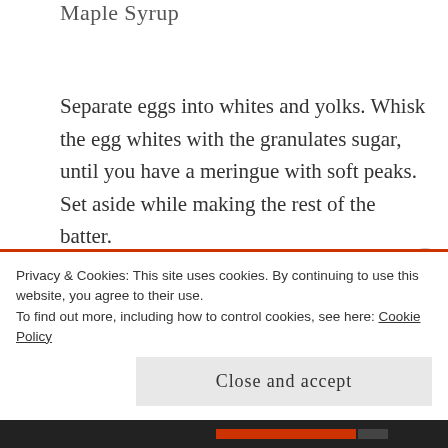Maple Syrup
Separate eggs into whites and yolks. Whisk the egg whites with the granulates sugar, until you have a meringue with soft peaks. Set aside while making the rest of the batter.
In another bowl whisk together egg yolks, milk, beer, vanilla sugar, cane sugar, baking soda, baking powder and salt. Whisk until combined and the batter is
Privacy & Cookies: This site uses cookies. By continuing to use this website, you agree to their use.
To find out more, including how to control cookies, see here: Cookie Policy
Close and accept